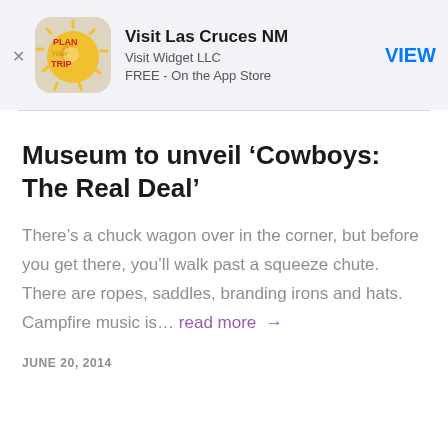[Figure (screenshot): App banner ad for 'Visit Las Cruces NM' app by Visit Widget LLC, FREE on the App Store, with a Plan Your Trip sun logo icon and a blue VIEW button]
Museum to unveil ‘Cowboys: The Real Deal’
There’s a chuck wagon over in the corner, but before you get there, you’ll walk past a squeeze chute. There are ropes, saddles, branding irons and hats. Campfire music is… read more →
JUNE 20, 2014